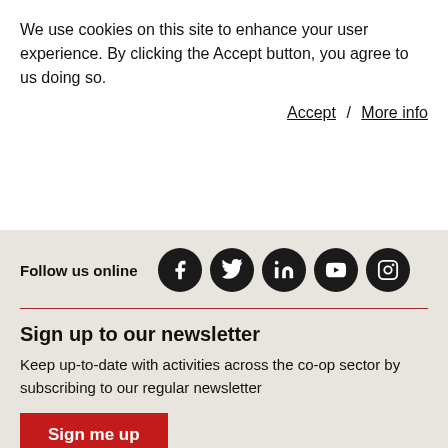We use cookies on this site to enhance your user experience. By clicking the Accept button, you agree to us doing so.
Accept / More info
Follow us online
[Figure (illustration): Five social media icons: Facebook, Twitter, LinkedIn, YouTube, Instagram — white icons on black circles]
Sign up to our newsletter
Keep up-to-date with activities across the co-op sector by subscribing to our regular newsletter
Sign me up